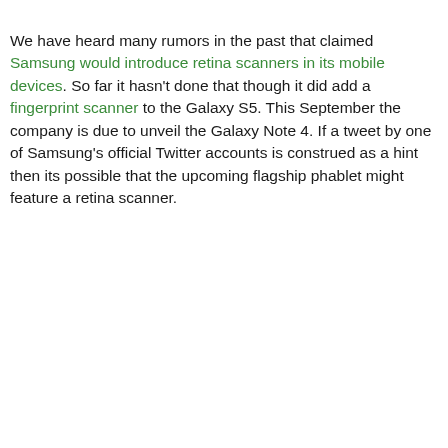We have heard many rumors in the past that claimed Samsung would introduce retina scanners in its mobile devices. So far it hasn't done that though it did add a fingerprint scanner to the Galaxy S5. This September the company is due to unveil the Galaxy Note 4. If a tweet by one of Samsung's official Twitter accounts is construed as a hint then its possible that the upcoming flagship phablet might feature a retina scanner.